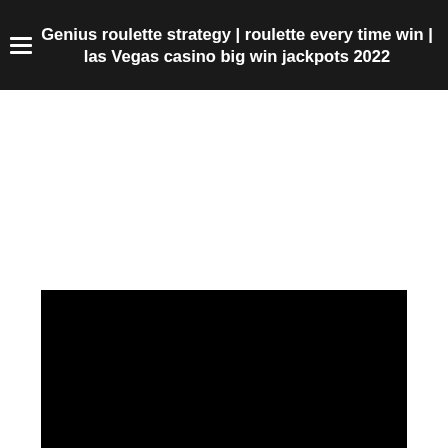Genius roulette strategy | roulette every time win | las Vegas casino big win jackpots 2022
[Figure (other): Large black rectangle representing a video player or embedded media content area]